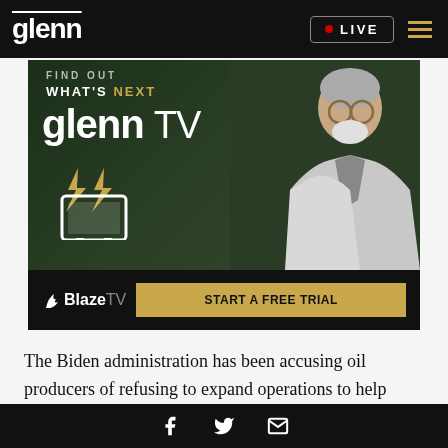glenn  LIVE  ≡
[Figure (illustration): Glenn TV / BlazeTV advertisement banner showing a man in a light gray suit jacket with the text 'FIND OUT WHAT'S NEXT', 'glenn TV', a TV icon with lightning bolts, BlazeTV logo, and a 'START A FREE TRIAL' button]
The Biden administration has been accusing oil producers of refusing to expand operations to help offset skyrocketing gas prices. On Wednesday,
Facebook  Twitter  Email icons